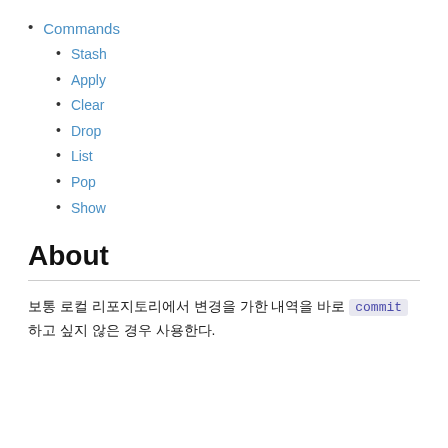Commands
Stash
Apply
Clear
Drop
List
Pop
Show
About
보통 로컬 리포지토리에서 변경을 가한 내역을 바로 commit 하고 싶지 않은 경우 사용한다.